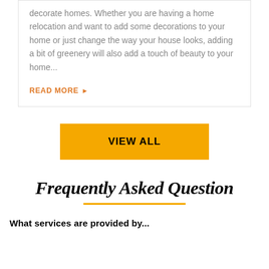decorate homes. Whether you are having a home relocation and want to add some decorations to your home or just change the way your house looks, adding a bit of greenery will also add a touch of beauty to your home...
READ MORE ▶
VIEW ALL
Frequently Asked Question
What services are provided by...